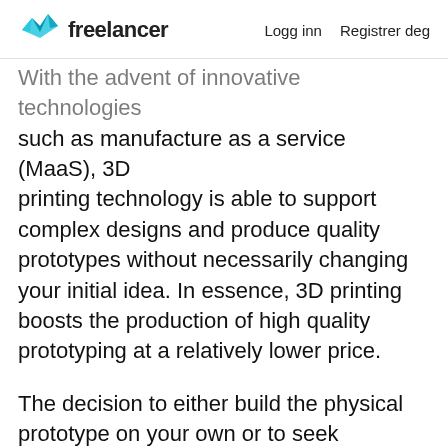freelancer  Logg inn  Registrer deg
With the advent of innovative technologies such as manufacture as a service (MaaS), 3D printing technology is able to support complex designs and produce quality prototypes without necessarily changing your initial idea. In essence, 3D printing boosts the production of high quality prototyping at a relatively lower price.
The decision to either build the physical prototype on your own or to seek professional assistance from 3D printing